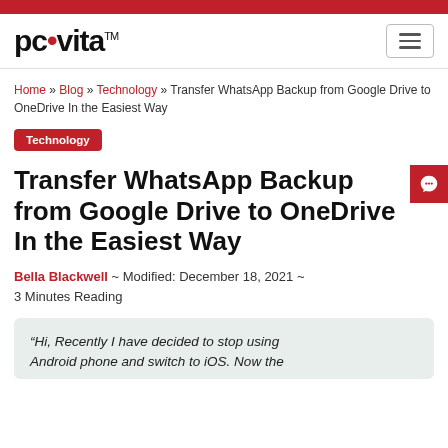pcvita
Home » Blog » Technology » Transfer WhatsApp Backup from Google Drive to OneDrive In the Easiest Way
Technology
Transfer WhatsApp Backup from Google Drive to OneDrive In the Easiest Way
Bella Blackwell ~ Modified: December 18, 2021 ~ 3 Minutes Reading
“Hi, Recently I have decided to stop using Android phone and switch to iOS. Now the